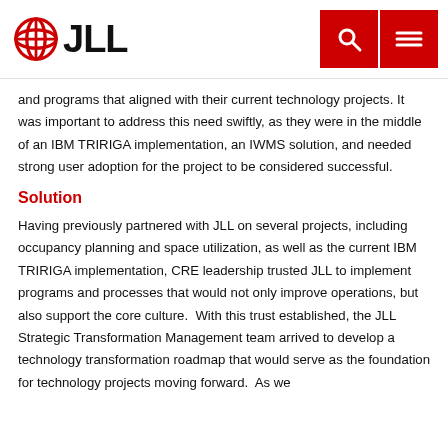[Figure (logo): JLL logo with red globe icon and black JLL text, plus red search and menu buttons in the top right]
and programs that aligned with their current technology projects. It was important to address this need swiftly, as they were in the middle of an IBM TRIRIGA implementation, an IWMS solution, and needed strong user adoption for the project to be considered successful.
Solution
Having previously partnered with JLL on several projects, including occupancy planning and space utilization, as well as the current IBM TRIRIGA implementation, CRE leadership trusted JLL to implement programs and processes that would not only improve operations, but also support the core culture.  With this trust established, the JLL Strategic Transformation Management team arrived to develop a technology transformation roadmap that would serve as the foundation for technology projects moving forward.  As we